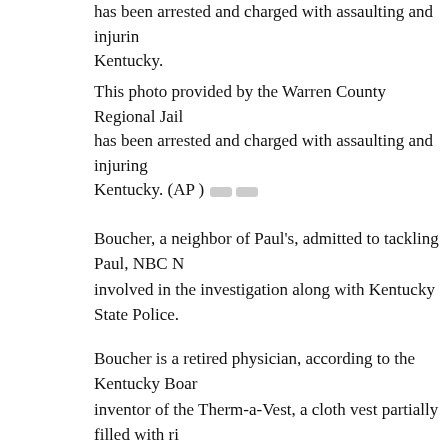has been arrested and charged with assaulting and injuring Kentucky.
This photo provided by the Warren County Regional Jail has been arrested and charged with assaulting and injuring Kentucky. (AP )
Boucher, a neighbor of Paul’s, admitted to tackling Paul, NBC N involved in the investigation along with Kentucky State Police.
Boucher is a retired physician, according to the Kentucky Board inventor of the Therm-a-Vest, a cloth vest partially filled with ri that is designed to relieve back pain, according to the Bowling G
Robert Porter, who has known Paul and his family for more than Post he went to see Paul on Saturday evening.
“He’s in some pain, but he’s going to be fine,” Porter told the ne to Washington will be a “game-time decision” but that Paul is p point in the coming days.